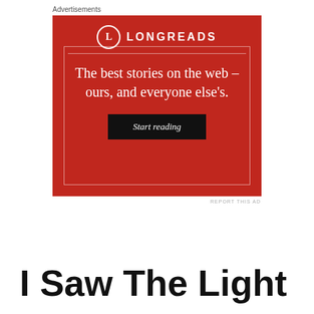Advertisements
[Figure (illustration): Longreads advertisement banner with red background. Shows the Longreads logo (circle with L) and text: 'The best stories on the web – ours, and everyone else's.' with a black 'Start reading' button.]
REPORT THIS AD
I Saw The Light